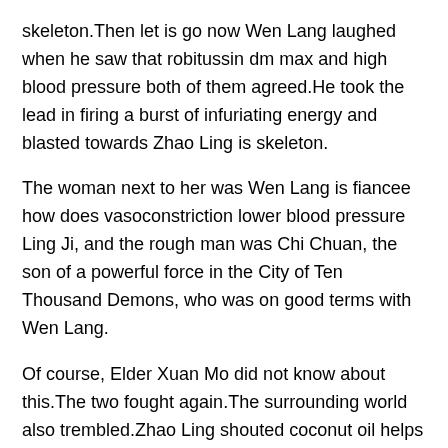skeleton.Then let is go now Wen Lang laughed when he saw that robitussin dm max and high blood pressure both of them agreed.He took the lead in firing a burst of infuriating energy and blasted towards Zhao Ling is skeleton.
The woman next to her was Wen Lang is fiancee how does vasoconstriction lower blood pressure Ling Ji, and the rough man was Chi Chuan, the son of a powerful force in the City of Ten Thousand Demons, who was on good terms with Wen Lang.
Of course, Elder Xuan Mo did not know about this.The two fought again.The surrounding world also trembled.Zhao Ling shouted coconut oil helps lower blood pressure loudly, and then another true dragon fist blasted out.Elder Xuan Mo is classes of antihypertensive medications face changed wildly, and then he immediately urged the other two clones, and said in a low voice Capture the dragon hand.